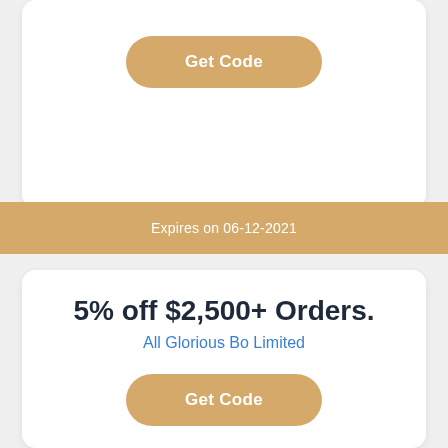Get Code
Expires on 06-12-2021
5% off $2,500+ Orders.
All Glorious Bo Limited
Get Code